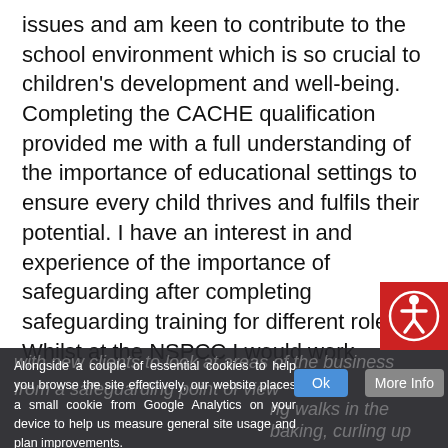issues and am keen to contribute to the school environment which is so crucial to children's development and well-being. Completing the CACHE qualification provided me with a full understanding of the importance of educational settings to ensure every child thrives and fulfils their potential. I have an interest in and experience of the importance of safeguarding after completing safeguarding training for different roles. Whilst at the NSPCC I would work
[Figure (other): Red accessibility icon button (wheelchair person symbol) overlaid in top-right of lower section]
with new clients to look at areas of the business from a safeguarding point of view
ng walks in the
baking, curling up with
learning to play golf
Alongside a couple of essential cookies to help you browse the site effectively, our website places a small cookie from Google Analytics on your device to help us measure general site usage and plan improvements.
Ok
More Info